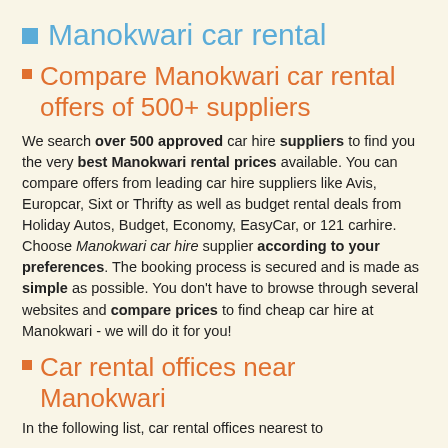Manokwari car rental
Compare Manokwari car rental offers of 500+ suppliers
We search over 500 approved car hire suppliers to find you the very best Manokwari rental prices available. You can compare offers from leading car hire suppliers like Avis, Europcar, Sixt or Thrifty as well as budget rental deals from Holiday Autos, Budget, Economy, EasyCar, or 121 carhire. Choose Manokwari car hire supplier according to your preferences. The booking process is secured and is made as simple as possible. You don't have to browse through several websites and compare prices to find cheap car hire at Manokwari - we will do it for you!
Car rental offices near Manokwari
In the following list, car rental offices nearest to